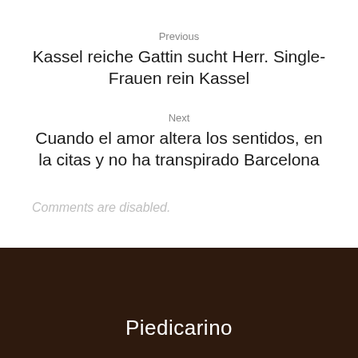Previous
Kassel reiche Gattin sucht Herr. Single-Frauen rein Kassel
Next
Cuando el amor altera los sentidos, en la citas y no ha transpirado Barcelona
Comments are disabled.
Piedicarino